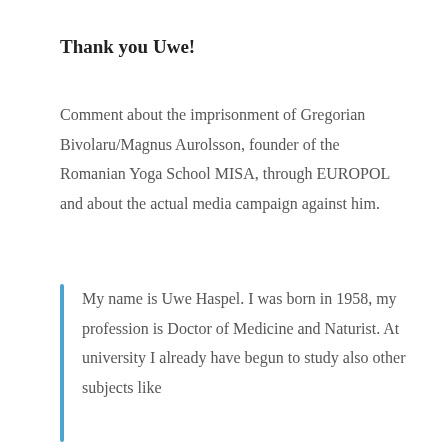Thank you Uwe!
Comment about the imprisonment of Gregorian Bivolaru/Magnus Aurolsson, founder of the Romanian Yoga School MISA, through EUROPOL and about the actual media campaign against him.
My name is Uwe Haspel. I was born in 1958, my profession is Doctor of Medicine and Naturist. At university I already have begun to study also other subjects like